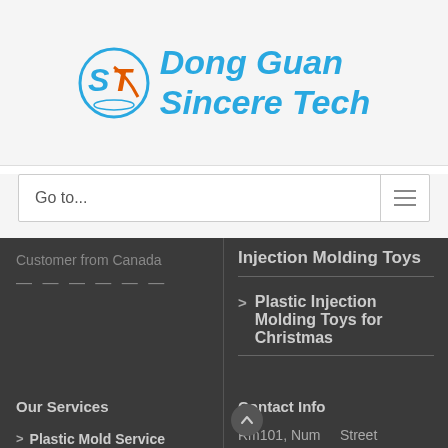[Figure (logo): Dong Guan Sincere Tech logo with circular ST emblem and blue italic text]
Go to...
Customer from Canada
Injection Molding Toys
Plastic Injection Molding Toys for Christmas
Our Services
Contact Info
Plastic Mold Service
Plastic Molding Service
Rm101, Num Street 11, Wen Ming Road, Qiaotou,